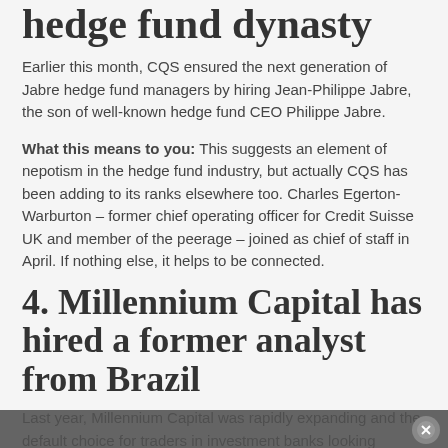hedge fund dynasty
Earlier this month, CQS ensured the next generation of Jabre hedge fund managers by hiring Jean-Philippe Jabre, the son of well-known hedge fund CEO Philippe Jabre.
What this means to you: This suggests an element of nepotism in the hedge fund industry, but actually CQS has been adding to its ranks elsewhere too. Charles Egerton-Warburton – former chief operating officer for Credit Suisse UK and member of the peerage – joined as chief of staff in April. If nothing else, it helps to be connected.
4. Millennium Capital has hired a former analyst from Brazil
Last year, Millennium Capital was rapidly expanding and the default choice for traders in investment banks looking